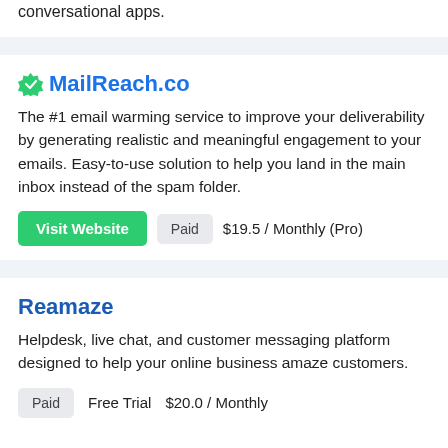conversational apps.
MailReach.co
The #1 email warming service to improve your deliverability by generating realistic and meaningful engagement to your emails. Easy-to-use solution to help you land in the main inbox instead of the spam folder.
Visit Website  Paid  $19.5 / Monthly (Pro)
Reamaze
Helpdesk, live chat, and customer messaging platform designed to help your online business amaze customers.
Paid  Free Trial  $20.0 / Monthly